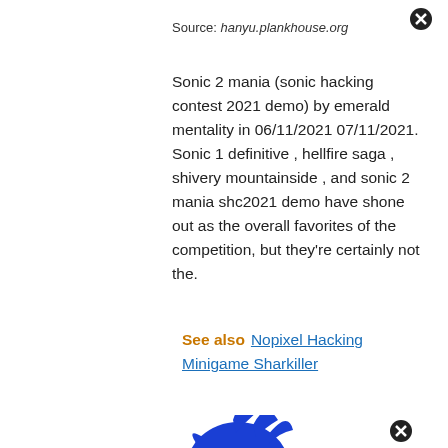Source: hanyu.plankhouse.org
Sonic 2 mania (sonic hacking contest 2021 demo) by emerald mentality in 06/11/2021 07/11/2021. Sonic 1 definitive , hellfire saga , shivery mountainside , and sonic 2 mania shc2021 demo have shone out as the overall favorites of the competition, but they're certainly not the.
See also  Nopixel Hacking Minigame Sharkiller
[Figure (logo): SHC2017 Sonic Hacking Contest logo with blue Sonic the Hedgehog silhouette]